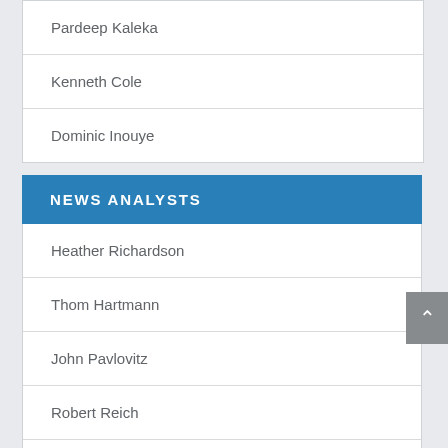Pardeep Kaleka
Kenneth Cole
Dominic Inouye
NEWS ANALYSTS
Heather Richardson
Thom Hartmann
John Pavlovitz
Robert Reich
Contributors